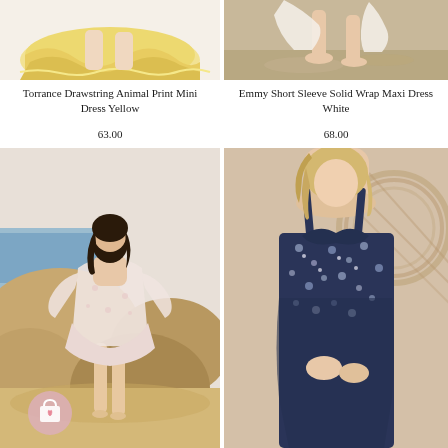[Figure (photo): Bottom of a yellow floral/animal print mini dress on a model, cropped top portion]
Torrance Drawstring Animal Print Mini Dress Yellow
63.00
[Figure (photo): Feet and lower legs of a model on sandy ground, wearing white wrap maxi dress]
Emmy Short Sleeve Solid Wrap Maxi Dress White
68.00
[Figure (photo): Woman with dark hair wearing a light pink floral short dress standing on rocks by the ocean, with a pink shopping cart icon overlay in the lower left]
[Figure (photo): Blonde woman wearing a navy blue floral/ditsy print spaghetti strap mini dress, close-up upper body shot with wicker chair background]